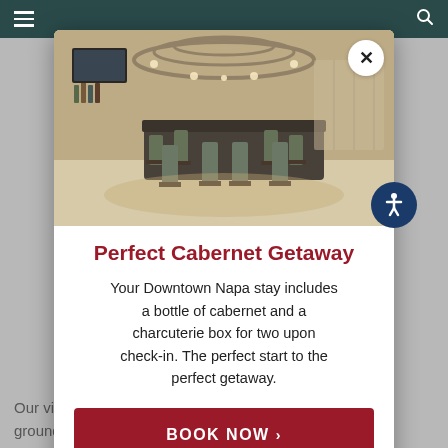Navigation bar with hamburger menu and search icon
[Figure (screenshot): Modal popup overlay on a hotel/hospitality website showing a bar/restaurant interior photo with high-top seating and chandelier, with a close (X) button in the top-right of the image]
Perfect Cabernet Getaway
Your Downtown Napa stay includes a bottle of cabernet and a charcuterie box for two upon check-in. The perfect start to the perfect getaway.
BOOK NOW >
Our virtual tasting kits come with $10 ground shipping. Use coupon code